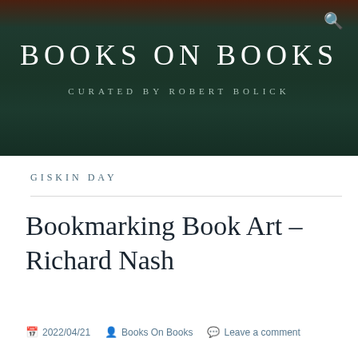[Figure (photo): Dark green and brown textured background banner for Books On Books website header]
BOOKS ON BOOKS
CURATED BY ROBERT BOLICK
GISKIN DAY
Bookmarking Book Art – Richard Nash
2022/04/21   Books On Books   Leave a comment